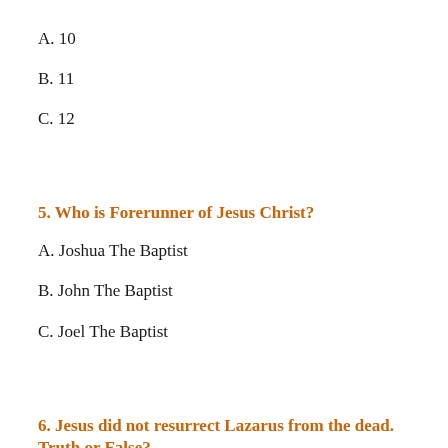A. 10
B. 11
C. 12
5. Who is Forerunner of Jesus Christ?
A. Joshua The Baptist
B. John The Baptist
C. Joel The Baptist
6. Jesus did not resurrect Lazarus from the dead. Truth or False?